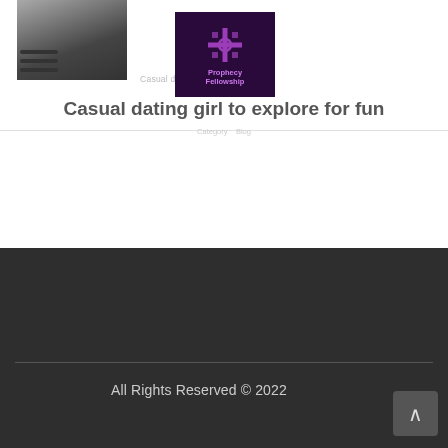[Figure (screenshot): Website header with thumbnail image of person in white top, hamburger menu icon, Prophecy Fellowship logo (purple cross icon on dark background), and site/article title text]
Casual dating girl to explore for fun
[Figure (screenshot): Website footer with dark background, social media icon buttons (YouTube, Instagram, Twitter, Facebook), horizontal divider, copyright text, and back-to-top button]
All Rights Reserved © 2022